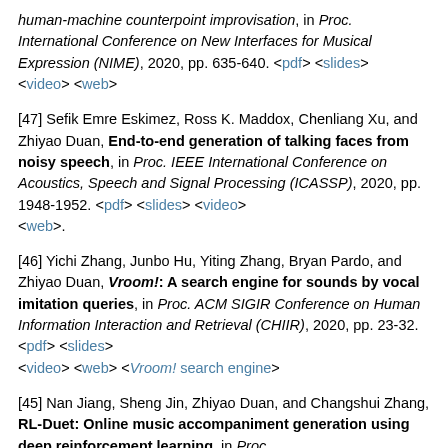human-machine counterpoint improvisation, in Proc. International Conference on New Interfaces for Musical Expression (NIME), 2020, pp. 635-640. <pdf> <slides> <video> <web>
[47] Sefik Emre Eskimez, Ross K. Maddox, Chenliang Xu, and Zhiyao Duan, End-to-end generation of talking faces from noisy speech, in Proc. IEEE International Conference on Acoustics, Speech and Signal Processing (ICASSP), 2020, pp. 1948-1952. <pdf> <slides> <video> <web>.
[46] Yichi Zhang, Junbo Hu, Yiting Zhang, Bryan Pardo, and Zhiyao Duan, Vroom!: A search engine for sounds by vocal imitation queries, in Proc. ACM SIGIR Conference on Human Information Interaction and Retrieval (CHIIR), 2020, pp. 23-32. <pdf> <slides> <video> <web> <Vroom! search engine>
[45] Nan Jiang, Sheng Jin, Zhiyao Duan, and Changshui Zhang, RL-Duet: Online music accompaniment generation using deep reinforcement learning, in Proc.